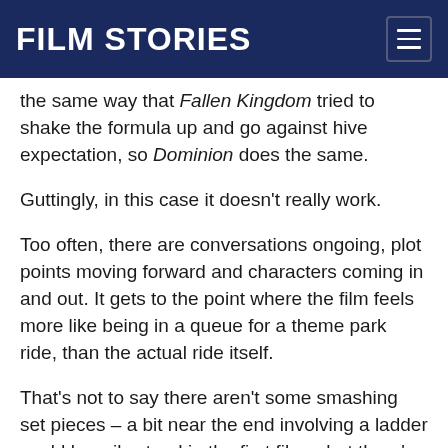FILM STORIES
the same way that Fallen Kingdom tried to shake the formula up and go against hive expectation, so Dominion does the same.
Guttingly, in this case it doesn't really work.
Too often, there are conversations ongoing, plot points moving forward and characters coming in and out. It gets to the point where the film feels more like being in a queue for a theme park ride, than the actual ride itself.
That's not to say there aren't some smashing set pieces – a bit near the end involving a ladder could happily stand in the first film – but there's little build to them. Consider how in Jurassic World, the big new attraction – the Indominus Rex – was explained and teased before you saw the bugger. Here, the new biggest dinosaur we've ever seen warrants a couple of lines of dialogue before it appears. There's little…